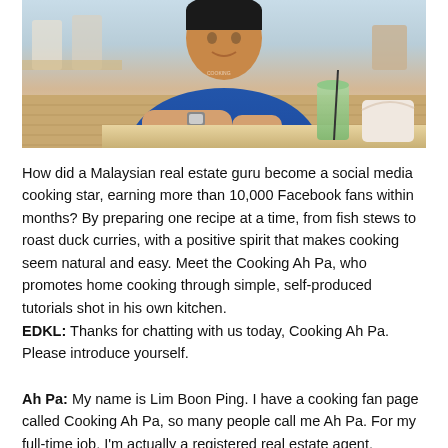[Figure (photo): Photo of a man in a blue t-shirt seated at a table in a restaurant or food court setting. A green drink and tissue packet are visible on the table. Chairs and wooden floor visible in background.]
How did a Malaysian real estate guru become a social media cooking star, earning more than 10,000 Facebook fans within months? By preparing one recipe at a time, from fish stews to roast duck curries, with a positive spirit that makes cooking seem natural and easy. Meet the Cooking Ah Pa, who promotes home cooking through simple, self-produced tutorials shot in his own kitchen.
EDKL: Thanks for chatting with us today, Cooking Ah Pa. Please introduce yourself.
Ah Pa: My name is Lim Boon Ping. I have a cooking fan page called Cooking Ah Pa, so many people call me Ah Pa. For my full-time job, I'm actually a registered real estate agent.